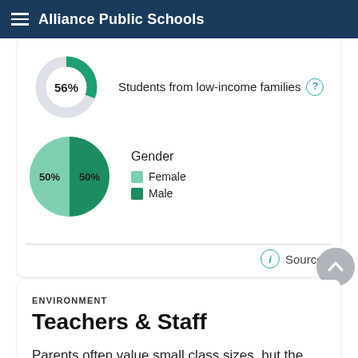Alliance Public Schools
[Figure (donut-chart): Students from low-income families]
Students from low-income families
[Figure (pie-chart): Gender]
Gender
Female
Male
Sources
ENVIRONMENT
Teachers & Staff
Parents often value small class sizes, but the truth is more complicated